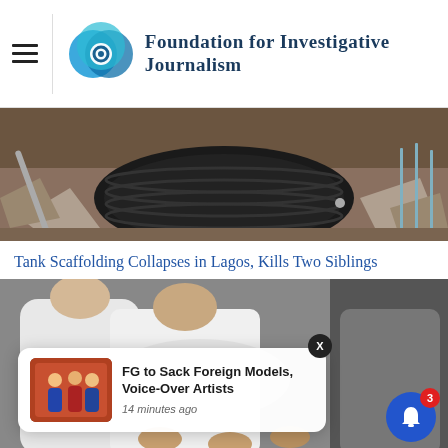Foundation for Investigative Journalism
[Figure (photo): Construction site debris with a large black tank/tire partially buried in dirt, rubble and construction rods visible]
Tank Scaffolding Collapses in Lagos, Kills Two Siblings
[Figure (photo): Close-up of people in white clothing, appears to be a medical or mourning scene. Overlaid with a notification popup: 'FG to Sack Foreign Models, Voice-Over Artists - 14 minutes ago' and a blue notification bell icon with badge showing 3]